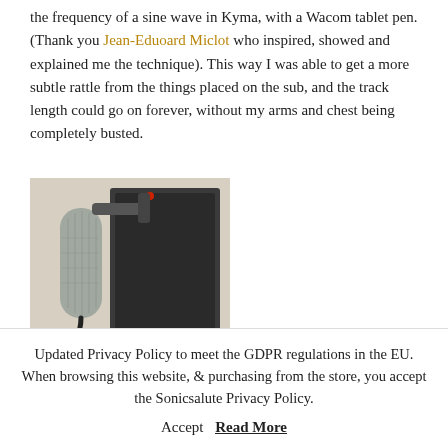the frequency of a sine wave in Kyma, with a Wacom tablet pen. (Thank you Jean-Eduoard Miclot who inspired, showed and explained me the technique). This way I was able to get a more subtle rattle from the things placed on the sub, and the track length could go on forever, without my arms and chest being completely busted.
[Figure (photo): Photo of a studio microphone next to a dark speaker or monitor, on a light background.]
Updated Privacy Policy to meet the GDPR regulations in the EU. When browsing this website, & purchasing from the store, you accept the Sonicsalute Privacy Policy.
Accept  Read More